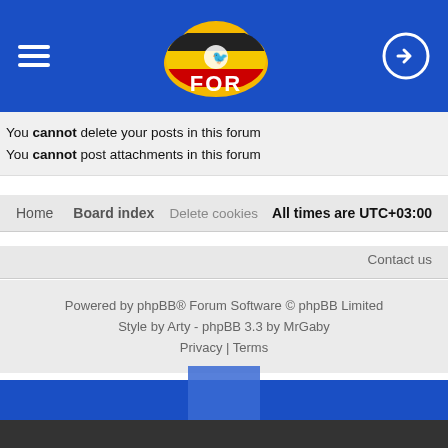[Figure (screenshot): Blue header bar with hamburger menu icon on left, FOR Uganda forum logo in center, login icon on right]
You cannot delete your posts in this forum
You cannot post attachments in this forum
Home   Board index   Delete cookies   All times are UTC+03:00
Contact us
Powered by phpBB® Forum Software © phpBB Limited
Style by Arty - phpBB 3.3 by MrGaby
Privacy | Terms